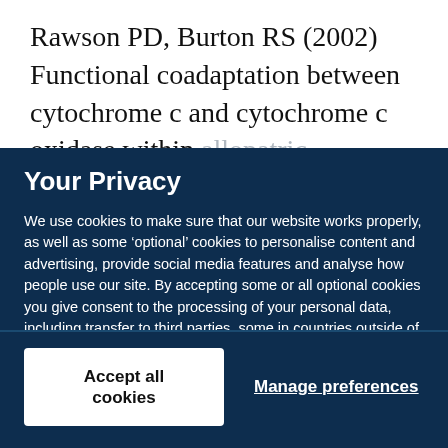Rawson PD, Burton RS (2002) Functional coadaptation between cytochrome c and cytochrome c oxidase within allopatric populations of a marine copepod. Proc Natl
Your Privacy
We use cookies to make sure that our website works properly, as well as some ‘optional’ cookies to personalise content and advertising, provide social media features and analyse how people use our site. By accepting some or all optional cookies you give consent to the processing of your personal data, including transfer to third parties, some in countries outside of the European Economic Area that do not offer the same data protection standards as the country where you live. You can decide which optional cookies to accept by clicking on ‘Manage Settings’, where you can also find more information about how your personal data is processed. Further information can be found in our privacy policy.
Accept all cookies
Manage preferences